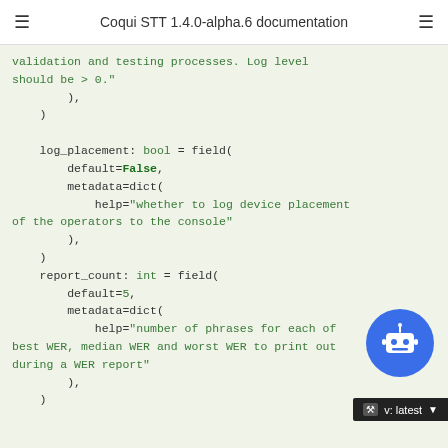Coqui STT 1.4.0-alpha.6 documentation
Code block showing Python dataclass field definitions for log_placement (bool, default=False) and report_count (int, default=5) with metadata help strings.